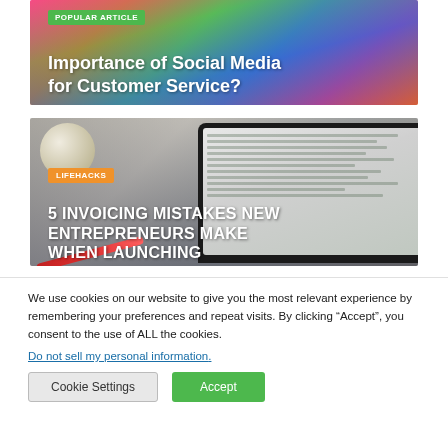[Figure (photo): Colorful abstract/social media themed banner image with 'POPULAR ARTICLE' tag and title overlay]
Importance of Social Media for Customer Service?
[Figure (photo): Laptop with spreadsheet on desk, with 'LIFEHACKS' tag and article title overlay]
5 INVOICING MISTAKES NEW ENTREPRENEURS MAKE WHEN LAUNCHING
We use cookies on our website to give you the most relevant experience by remembering your preferences and repeat visits. By clicking “Accept”, you consent to the use of ALL the cookies.
Do not sell my personal information.
Cookie Settings
Accept